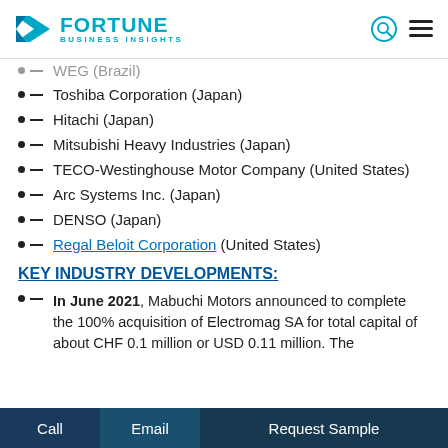Fortune Business Insights
WEG (Brazil)
Toshiba Corporation (Japan)
Hitachi (Japan)
Mitsubishi Heavy Industries (Japan)
TECO-Westinghouse Motor Company (United States)
Arc Systems Inc. (Japan)
DENSO (Japan)
Regal Beloit Corporation (United States)
KEY INDUSTRY DEVELOPMENTS:
In June 2021, Mabuchi Motors announced to complete the 100% acquisition of Electromag SA for total capital of about CHF 0.1 million or USD 0.11 million. The
Call   Email   Request Sample